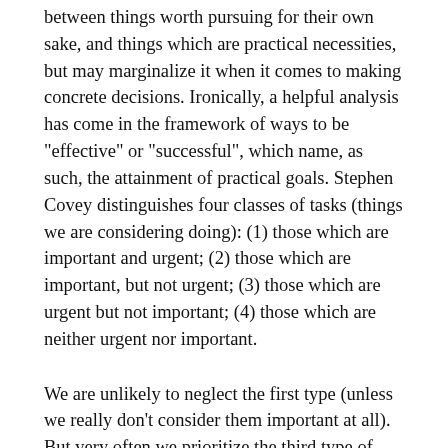between things worth pursuing for their own sake, and things which are practical necessities, but may marginalize it when it comes to making concrete decisions. Ironically, a helpful analysis has come in the framework of ways to be "effective" or "successful", which name, as such, the attainment of practical goals. Stephen Covey distinguishes four classes of tasks (things we are considering doing): (1) those which are important and urgent; (2) those which are important, but not urgent; (3) those which are urgent but not important; (4) those which are neither urgent nor important.
We are unlikely to neglect the first type (unless we really don't consider them important at all). But very often we prioritize the third type of tasks or duties (those which are urgent, though not important) to the neglect of the second (those which are